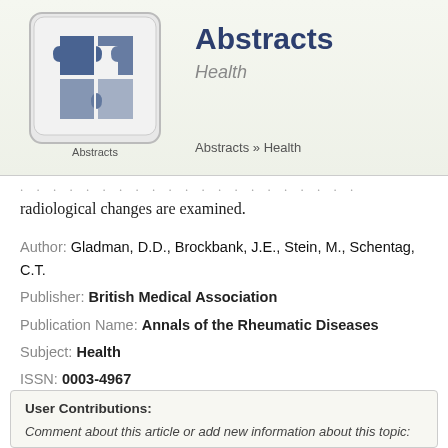[Figure (logo): Abstracts puzzle-piece logo icon on a keyboard key]
Abstracts
Health
Abstracts » Health
radiological changes are examined.
Author: Gladman, D.D., Brockbank, J.E., Stein, M., Schentag, C.T.
Publisher: British Medical Association
Publication Name: Annals of the Rheumatic Diseases
Subject: Health
ISSN: 0003-4967
Year: 2005
Canada, Diagnosis
User Contributions:
Comment about this article or add new information about this topic: